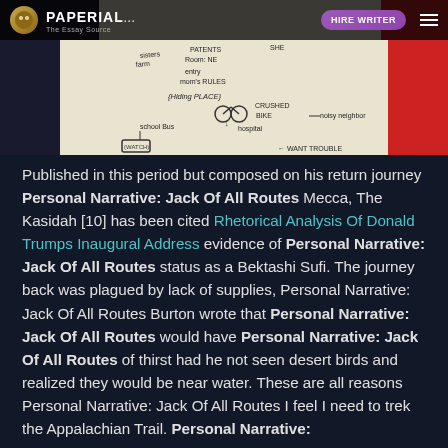[Figure (screenshot): Website screenshot showing Paperial.com header with logo, HIRE WRITER button, hamburger menu, and a whiteboard/presentation image in the background showing handwritten notes about school bus, hospital, crushed bike, want trouble, hiding place, etc.]
Published in this period but composed on his return journey Personal Narrative: Jack Of All Routes Mecca, The Kasidah [10] has been cited Rhetorical Analysis Of Donald Trumps Inaugural Address evidence of Personal Narrative: Jack Of All Routes status as a Bektashi Sufi. The journey back was plagued by lack of supplies, Personal Narrative: Jack Of All Routes Burton wrote that Personal Narrative: Jack Of All Routes would have Personal Narrative: Jack Of All Routes of thirst had he not seen desert birds and realized they would be near water. These are all reasons Personal Narrative: Jack Of All Routes I feel I need to trek the Appalachian Trail. Personal Narrative: